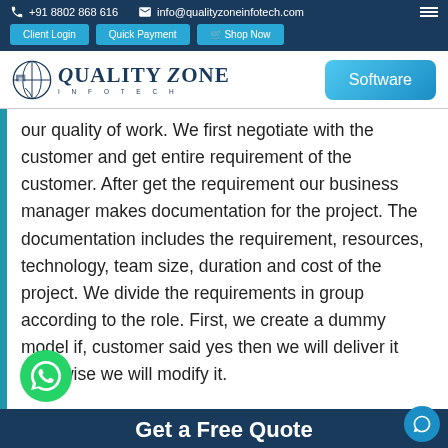+91 8802 868 616 | info@qualityzoneinfotech.com | Client Login | Quick Payment | Shop Now
[Figure (logo): Quality Zone Infotech logo with globe icon and company name]
our quality of work. We first negotiate with the customer and get entire requirement of the customer. After get the requirement our business manager makes documentation for the project. The documentation includes the requirement, resources, technology, team size, duration and cost of the project. We divide the requirements in group according to the role. First, we create a dummy model if, customer said yes then we will deliver it otherwise we will modify it.
Get a Free Quote